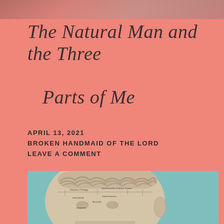[Figure (photo): Top portion of a face/head photograph, cropped, showing a salmon/coral background]
The Natural Man and the Three Parts of Me
APRIL 13, 2021
BROKEN HANDMAID OF THE LORD
LEAVE A COMMENT
[Figure (photo): Close-up photograph of a phrenology head bust with labeled brain regions, beige/cream colored mannequin head with text annotations on the forehead and face areas, brain visible on top]